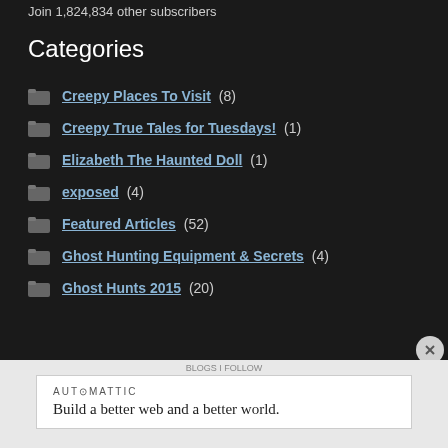Join 1,824,834 other subscribers
Categories
Creepy Places To Visit (8)
Creepy True Tales for Tuesdays! (1)
Elizabeth The Haunted Doll (1)
exposed (4)
Featured Articles (52)
Ghost Hunting Equipment & Secrets (4)
Ghost Hunts 2015 (20)
AUT⊙MATTIC
Build a better web and a better world.